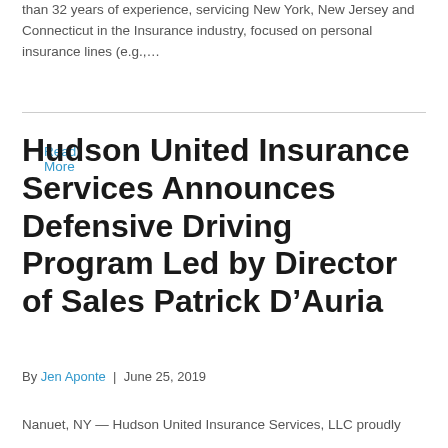than 32 years of experience, servicing New York, New Jersey and Connecticut in the Insurance industry, focused on personal insurance lines (e.g.,…
Read More
Hudson United Insurance Services Announces Defensive Driving Program Led by Director of Sales Patrick D'Auria
By Jen Aponte | June 25, 2019
Nanuet, NY — Hudson United Insurance Services, LLC proudly